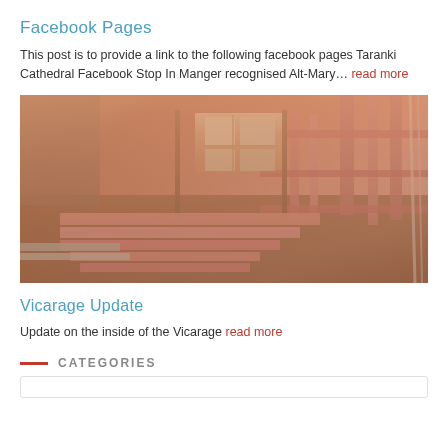Facebook Pages
This post is to provide a link to the following facebook pages Taranki Cathedral Facebook Stop In Manger recognised Alt-Mary… read more
[Figure (photo): Interior of a building under construction showing pink timber framing studs and structural lumber, with a window visible in the background and pink timber planks piled on the floor in the foreground.]
Vicarage Update
Update on the inside of the Vicarage read more
CATEGORIES